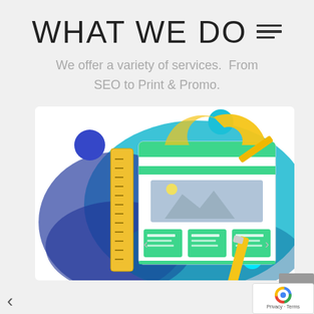WHAT WE DO
We offer a variety of services.  From SEO to Print & Promo.
[Figure (illustration): Web design illustration showing a browser/page layout mockup with green UI elements, content blocks, navigation arrows, a pencil, a yellow ruler, a drafting compass/protractor in yellow, and a large teal/blue abstract blob shape in the background. Small decorative circles in blue and cyan.]
Privacy · Terms